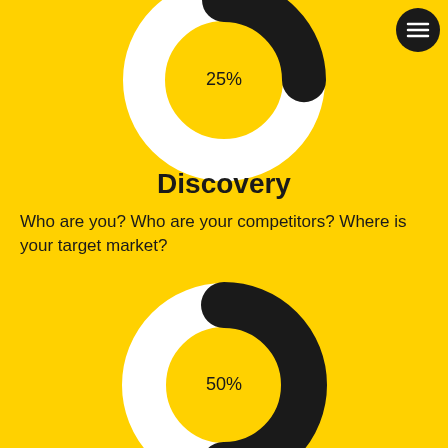[Figure (donut-chart): 25% donut chart]
Discovery
Who are you? Who are your competitors? Where is your target market?
[Figure (donut-chart): 50% donut chart]